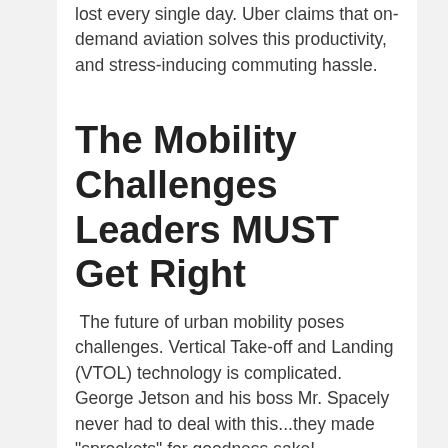lost every single day. Uber claims that on-demand aviation solves this productivity, and stress-inducing commuting hassle.
The Mobility Challenges Leaders MUST Get Right
The future of urban mobility poses challenges. Vertical Take-off and Landing (VTOL) technology is complicated. George Jetson and his boss Mr. Spacely never had to deal with this...they made "sprockets" for goodness sake!